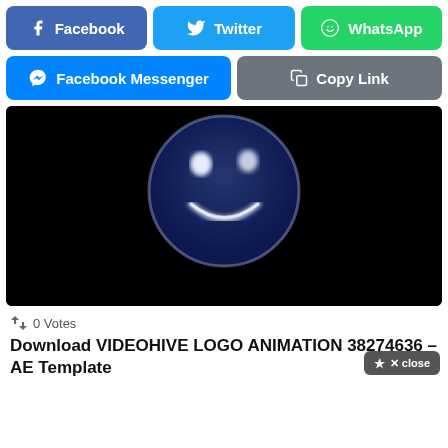[Figure (screenshot): Social share buttons row 1: Facebook (blue), Twitter (light blue), WhatsApp (green)]
[Figure (screenshot): Social share buttons row 2: Facebook Messenger (blue), Copy Link (gray)]
[Figure (screenshot): Video thumbnail showing a dark blue smiley face emoji on black background]
↕ 0 Votes
Download VIDEOHIVE LOGO ANIMATION 38274636 – AE Template